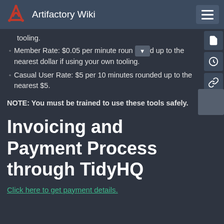Artifactory Wiki
tooling.
Member Rate: $0.05 per minute rounded up to the nearest dollar if using your own tooling.
Casual User Rate: $5 per 10 minutes rounded up to the nearest $5.
NOTE: You must be trained to use these tools safely.
Invoicing and Payment Process through TidyHQ
Click here to get payment details.